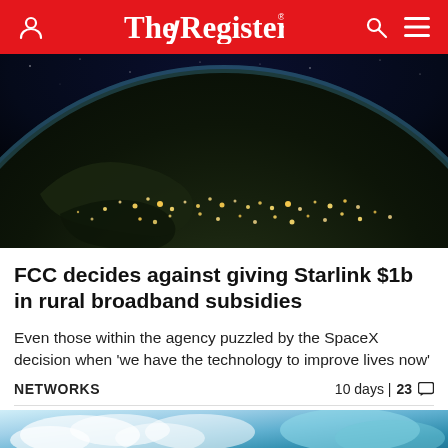The Register
[Figure (photo): Photograph of Earth from space at night, showing city lights across North America against a dark blue/black background with the curvature of the Earth visible]
FCC decides against giving Starlink $1b in rural broadband subsidies
Even those within the agency puzzled by the SpaceX decision when 'we have the technology to improve lives now'
NETWORKS  10 days | 23
[Figure (photo): Partial view of a second article thumbnail image showing clouds/sky in teal and blue tones]